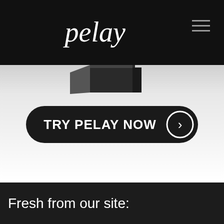pelay (logo) — navigation header with hamburger menu
[Figure (screenshot): Product box/device image partially visible at top of hero section]
[Figure (illustration): TRY PELAY NOW call-to-action button with arrow circle icon, dark rounded pill shape on light gradient background]
[Figure (logo): Media logos row: Men's Health, MUSC Medical University of South Carolina, CNBC, Discovery Health, Medical Institute for Sexual Health]
Fresh from our site: